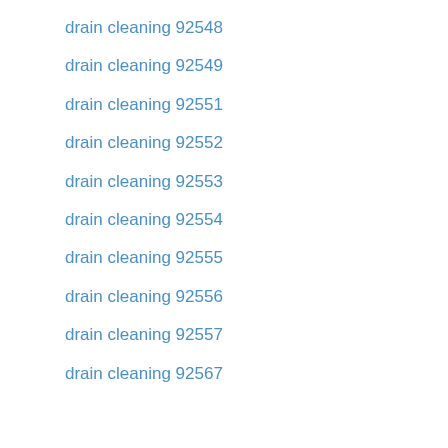drain cleaning 92548
drain cleaning 92549
drain cleaning 92551
drain cleaning 92552
drain cleaning 92553
drain cleaning 92554
drain cleaning 92555
drain cleaning 92556
drain cleaning 92557
drain cleaning 92567